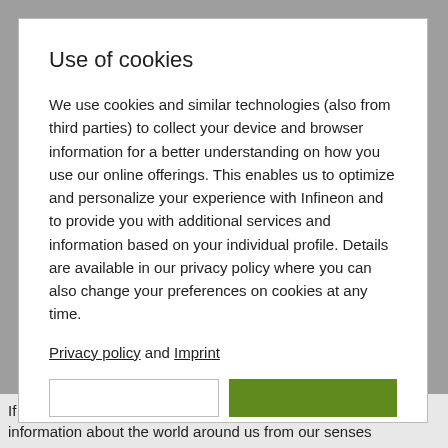Use of cookies
We use cookies and similar technologies (also from third parties) to collect your device and browser information for a better understanding on how you use our online offerings. This enables us to optimize and personalize your experience with Infineon and to provide you with additional services and information based on your individual profile. Details are available in our privacy policy where you can also change your preferences on cookies at any time.
Privacy policy and Imprint
If we take a look at the human sensory system, we receive information about the world around us from our senses